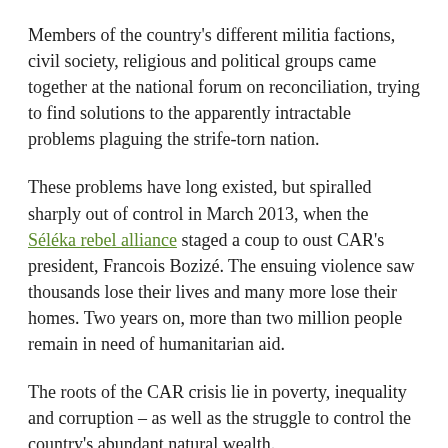Members of the country's different militia factions, civil society, religious and political groups came together at the national forum on reconciliation, trying to find solutions to the apparently intractable problems plaguing the strife-torn nation.
These problems have long existed, but spiralled sharply out of control in March 2013, when the Séléka rebel alliance staged a coup to oust CAR's president, Francois Bozizé. The ensuing violence saw thousands lose their lives and many more lose their homes. Two years on, more than two million people remain in need of humanitarian aid.
The roots of the CAR crisis lie in poverty, inequality and corruption – as well as the struggle to control the country's abundant natural wealth.
With part of the world's second largest rainforest within its borders, timber is one of CAR's most important exports, and